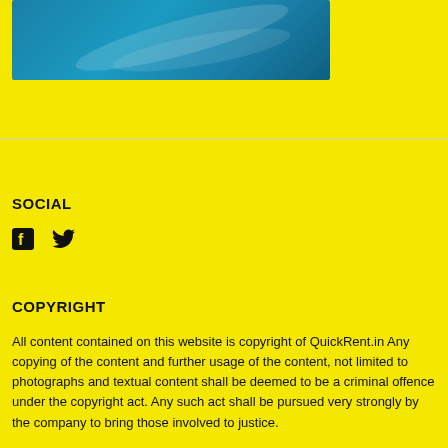[Figure (illustration): Blue decorative banner image with wave/swirl design on yellow background]
SOCIAL
[Figure (other): Facebook and Twitter social media icons]
COPYRIGHT
All content contained on this website is copyright of QuickRent.in Any copying of the content and further usage of the content, not limited to photographs and textual content shall be deemed to be a criminal offence under the copyright act. Any such act shall be pursued very strongly by the company to bring those involved to justice.